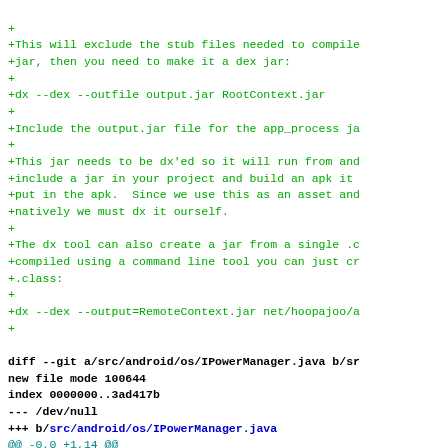git diff code block showing file changes for IPowerManager.java
+
+This will exclude the stub files needed to compile
+jar, then you need to make it a dex jar:
+
+dx --dex --outfile output.jar RootContext.jar
+
+Include the output.jar file for the app_process ja
+
+This jar needs to be dx'ed so it will run from and
+include a jar in your project and build an apk it
+put in the apk.  Since we use this as an asset and
+natively we must dx it ourself.
+
+The dx tool can also create a jar from a single .c
+compiled using a command line tool you can just cr
+.class:
+
+dx --dex --output=RemoteContext.jar net/hoopajoo/a
+
diff --git a/src/android/os/IPowerManager.java b/sr
new file mode 100644
index 0000000..3ad417b
--- /dev/null
+++ b/src/android/os/IPowerManager.java
@@ -0,0 +1,14 @@
+package android.os;
+
+import android.os.Binder;
+import android.os.IBinder;